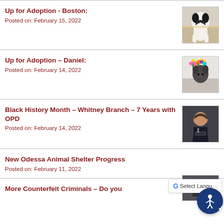Up for Adoption - Boston:
Posted on: February 15, 2022
[Figure (photo): Photo of a black and white dog (Boston Terrier mix) standing and looking at camera]
Up for Adoption – Daniel:
Posted on: February 14, 2022
[Figure (photo): Photo of a dark dog with colorful flower decorations on its head]
Black History Month – Whitney Branch – 7 Years with OPD
Posted on: February 14, 2022
[Figure (photo): Photo of a woman in police uniform smiling]
New Odessa Animal Shelter Progress
Posted on: February 11, 2022
More Counterfeit Criminals – Do you
[Figure (photo): Partial photo visible at bottom right corner]